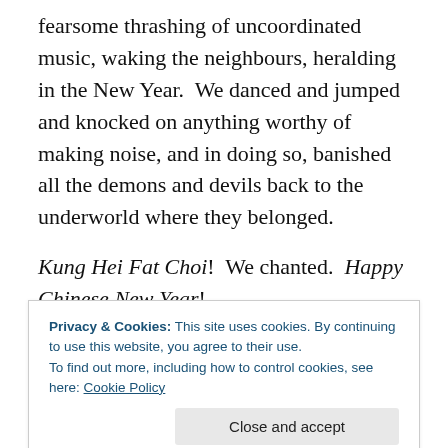fearsome thrashing of uncoordinated music, waking the neighbours, heralding in the New Year.  We danced and jumped and knocked on anything worthy of making noise, and in doing so, banished all the demons and devils back to the underworld where they belonged.
Kung Hei Fat Choi!  We chanted.  Happy Chinese New Year!
I remember my grandmother, my Popo, smiling her wide smile, the one that made her eyes crinkle.  She's standing there, clapping her hands, laughing at our madness, and
Privacy & Cookies: This site uses cookies. By continuing to use this website, you agree to their use.
To find out more, including how to control cookies, see here: Cookie Policy
asking about Chinese New Year, one day we won't want to